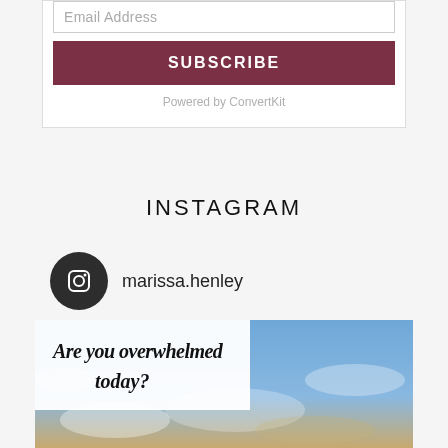Email Address
SUBSCRIBE
Powered by ConvertKit
INSTAGRAM
marissa.henley
[Figure (screenshot): Instagram post showing text 'Are you overwhelmed today?' over a photo of a blue sky with clouds]